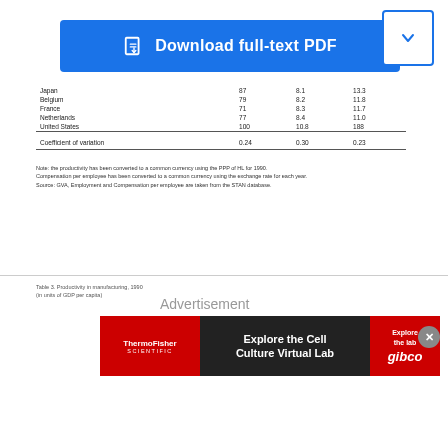[Figure (other): Blue download full-text PDF button with document icon]
|  |  |  |  |
| --- | --- | --- | --- |
| Japan | 87 | 8.1 | 13.3 |
| Belgium | 79 | 8.2 | 11.8 |
| France | 71 | 8.3 | 11.7 |
| Netherlands | 77 | 8.4 | 11.0 |
| United States | 100 | 10.8 | 188 |
|  |  |  |  |
| Coefficient of variation | 0.24 | 0.30 | 0.23 |
Note: the productivity has been converted to a common currency using the PPP of HL for 1990.
Compensation per employee has been converted to a common currency using the exchange rate for each year.
Source: GVA, Employment and Compensation per employee are taken from the STAN database.
Table 3. Productivity in manufacturing, 1990
(in units of GDP per capita)
Advertisement
[Figure (other): ThermoFisher Scientific advertisement banner — Explore the Cell Culture Virtual Lab / gibco]